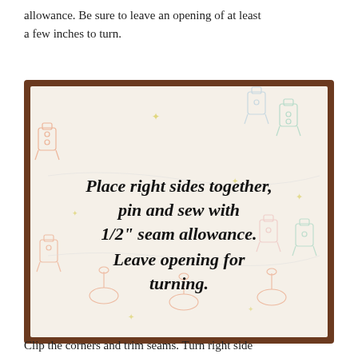allowance. Be sure to leave an opening of at least a few inches to turn.
[Figure (photo): A white fabric with colorful robot/toy print pattern laid flat. Overlaid text reads: 'Place right sides together, pin and sew with 1/2" seam allowance. Leave opening for turning.']
Clip the corners and trim seams. Turn right side